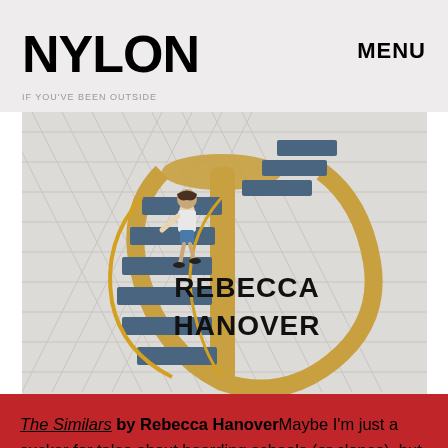NYLON    MENU
[Figure (illustration): Book cover for 'The Similars' by Rebecca Hanover showing a spiral staircase with blue steps and gold railings, a girl climbing the stairs, on a white diamond-pattern background. Author name 'REBECCA HANOVER' in bold black text on the right side.]
The Similars by Rebecca HanoverMaybe I'm just a sucker for tales about boarding schools (or clones), but this soon-to-be-released page-turner hit all